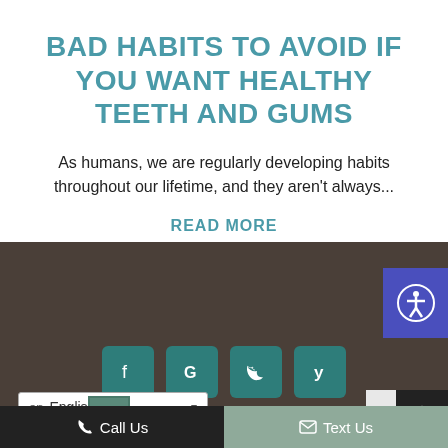BAD HABITS TO AVOID IF YOU WANT HEALTHY TEETH AND GUMS
As humans, we are regularly developing habits throughout our lifetime, and they aren't always...
READ MORE
[Figure (infographic): Accessibility icon button (person in circle) on blue-purple background, top right corner]
[Figure (infographic): Social media icon buttons (Facebook, Google, Twitter, Yelp) in teal square buttons on dark brown background]
[Figure (infographic): Language selector dropdown showing 'en English' with arrow, and partial dental practice logo text 'ONALD' watermark in footer]
Call Us   Text Us